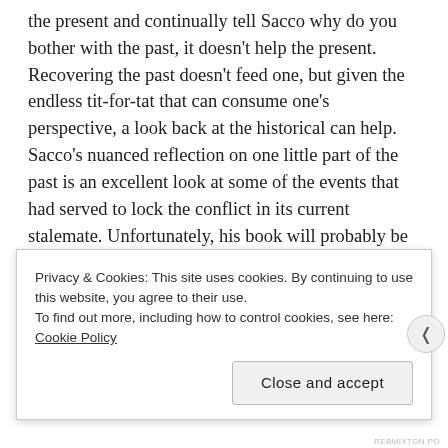the present and continually tell Sacco why do you bother with the past, it doesn't help the present. Recovering the past doesn't feed one, but given the endless tit-for-tat that can consume one's perspective, a look back at the historical can help. Sacco's nuanced reflection on one little part of the past is an excellent look at some of the events that had served to lock the conflict in its current stalemate. Unfortunately, his book will probably be taken by many as belonging to one side.
Advertisements
[Figure (other): Red advertisement banner bar]
Privacy & Cookies: This site uses cookies. By continuing to use this website, you agree to their use.
To find out more, including how to control cookies, see here: Cookie Policy
Close and accept
REBMIXTON.PO